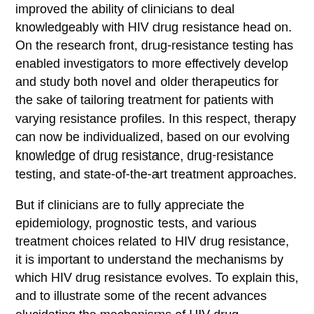improved the ability of clinicians to deal knowledgeably with HIV drug resistance head on. On the research front, drug-resistance testing has enabled investigators to more effectively develop and study both novel and older therapeutics for the sake of tailoring treatment for patients with varying resistance profiles. In this respect, therapy can now be individualized, based on our evolving knowledge of drug resistance, drug-resistance testing, and state-of-the-art treatment approaches.
But if clinicians are to fully appreciate the epidemiology, prognostic tests, and various treatment choices related to HIV drug resistance, it is important to understand the mechanisms by which HIV drug resistance evolves. To explain this, and to illustrate some of the recent advances elucidating the mechanisms of HIV drug resistance, Dr. François Clavel took the podium at PRN's annual holiday dinner in December to provide a basic and not-so-basic overview.
Selection of Drug-Resistant Mutants
To understand how mutations associated with drug resistance arise, it is necessary to start at the beginning. At the time of